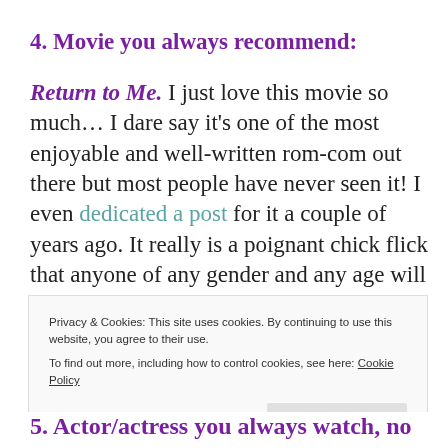4. Movie you always recommend:
Return to Me. I just love this movie so much… I dare say it's one of the most enjoyable and well-written rom-com out there but most people have never seen it! I even dedicated a post for it a couple of years ago. It really is a poignant chick flick that anyone of any gender and any age will enjoy. I love Bonnie Hunt's
Privacy & Cookies: This site uses cookies. By continuing to use this website, you agree to their use.
To find out more, including how to control cookies, see here: Cookie Policy
Close and accept
5. Actor/actress you always watch, no matter